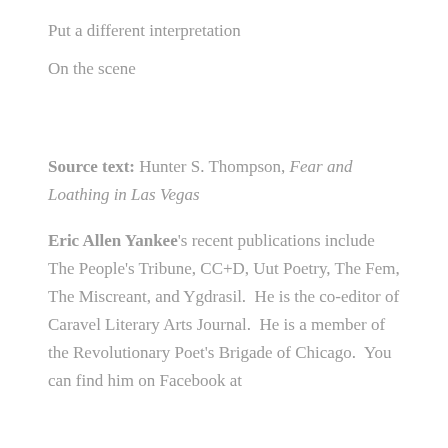Put a different interpretation
On the scene
Source text: Hunter S. Thompson, Fear and Loathing in Las Vegas
Eric Allen Yankee's recent publications include The People's Tribune, CC+D, Uut Poetry, The Fem, The Miscreant, and Ygdrasil.  He is the co-editor of Caravel Literary Arts Journal.  He is a member of the Revolutionary Poet's Brigade of Chicago.  You can find him on Facebook at